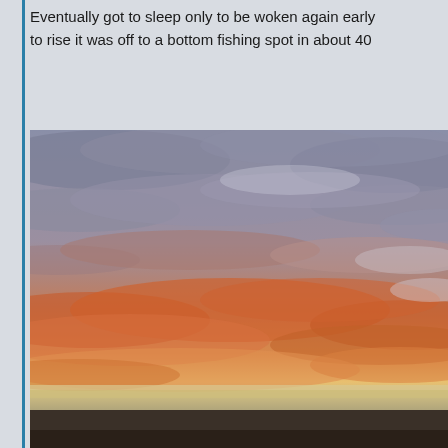Eventually got to sleep only to be woken again early to rise it was off to a bottom fishing spot in about 40
[Figure (photo): A dramatic sunrise or sunset sky photographed over water. The sky shows layered clouds in shades of purple-grey and orange-pink, with the horizon line visible showing a dark landmass or ocean surface at the bottom.]